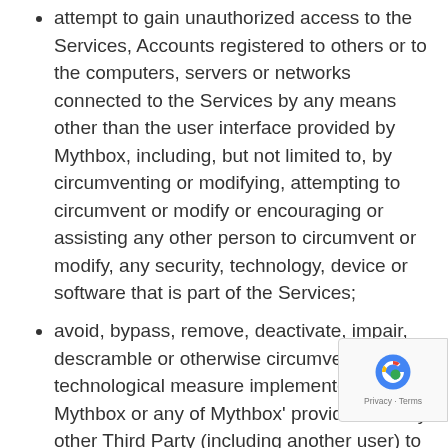attempt to gain unauthorized access to the Services, Accounts registered to others or to the computers, servers or networks connected to the Services by any means other than the user interface provided by Mythbox, including, but not limited to, by circumventing or modifying, attempting to circumvent or modify or encouraging or assisting any other person to circumvent or modify, any security, technology, device or software that is part of the Services;
avoid, bypass, remove, deactivate, impair, descramble or otherwise circumvent any technological measure implemented by Mythbox or any of Mythbox' providers or any other Third Party (including another user) to protect the Services;